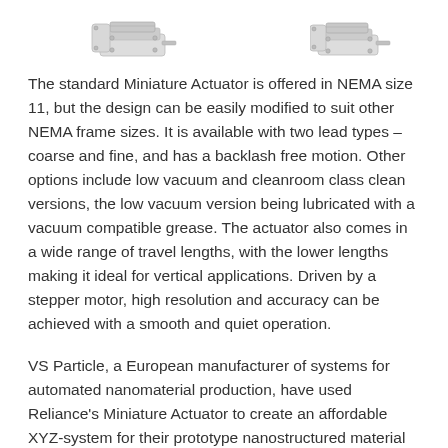[Figure (photo): Two miniature linear actuators photographed from above, showing mechanical assembly with stepper motor mounts, silver/grey metal construction.]
The standard Miniature Actuator is offered in NEMA size 11, but the design can be easily modified to suit other NEMA frame sizes. It is available with two lead types – coarse and fine, and has a backlash free motion. Other options include low vacuum and cleanroom class clean versions, the low vacuum version being lubricated with a vacuum compatible grease. The actuator also comes in a wide range of travel lengths, with the lower lengths making it ideal for vertical applications. Driven by a stepper motor, high resolution and accuracy can be achieved with a smooth and quiet operation.
VS Particle, a European manufacturer of systems for automated nanomaterial production, have used Reliance's Miniature Actuator to create an affordable XYZ-system for their prototype nanostructured material printer. The unit was recommended by